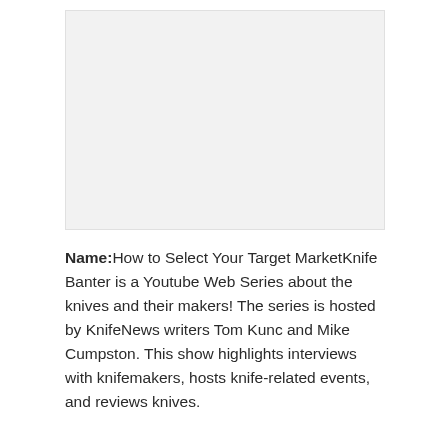[Figure (photo): Blank/empty image placeholder area]
Name:How to Select Your Target MarketKnife Banter is a Youtube Web Series about the knives and their makers! The series is hosted by KnifeNews writers Tom Kunc and Mike Cumpston. This show highlights interviews with knifemakers, hosts knife-related events, and reviews knives.